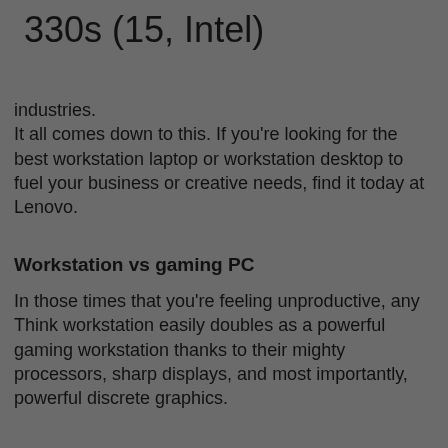330s (15, Intel)
industries.
It all comes down to this. If you're looking for the best workstation laptop or workstation desktop to fuel your business or creative needs, find it today at Lenovo.
Workstation vs gaming PC
In those times that you're feeling unproductive, any Think workstation easily doubles as a powerful gaming workstation thanks to their mighty processors, sharp displays, and most importantly, powerful discrete graphics.
Workstation FAQs
Want to know if you really need all the power a workstation PC can offer? Maybe a traditional laptop or desktop will suffice (we have those too). Lenovo's workstation FAQs will help you understand the